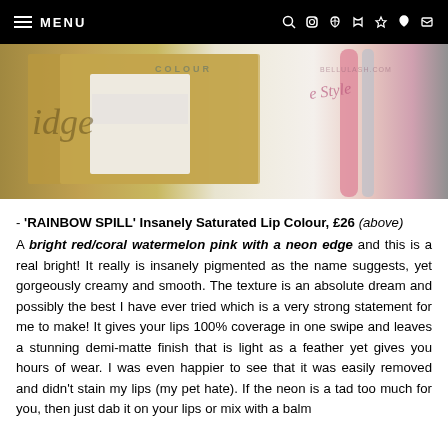MENU
[Figure (photo): Product photo showing beauty/cosmetic items including a gold and white lip colour box labeled 'COLOUR' and 'idge', and a pink styling tool on a white background]
- 'RAINBOW SPILL' Insanely Saturated Lip Colour, £26 (above) A bright red/coral watermelon pink with a neon edge and this is a real bright! It really is insanely pigmented as the name suggests, yet gorgeously creamy and smooth. The texture is an absolute dream and possibly the best I have ever tried which is a very strong statement for me to make! It gives your lips 100% coverage in one swipe and leaves a stunning demi-matte finish that is light as a feather yet gives you hours of wear. I was even happier to see that it was easily removed and didn't stain my lips (my pet hate). If the neon is a tad too much for you, then just dab it on your lips or mix with a balm